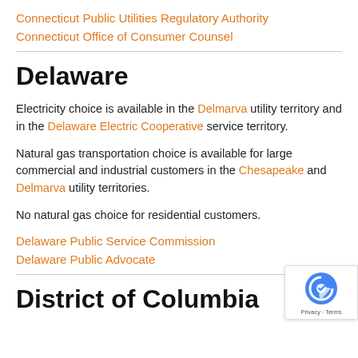Connecticut Public Utilities Regulatory Authority
Connecticut Office of Consumer Counsel
Delaware
Electricity choice is available in the Delmarva utility territory and in the Delaware Electric Cooperative service territory.
Natural gas transportation choice is available for large commercial and industrial customers in the Chesapeake and Delmarva utility territories.
No natural gas choice for residential customers.
Delaware Public Service Commission
Delaware Public Advocate
District of Columbia